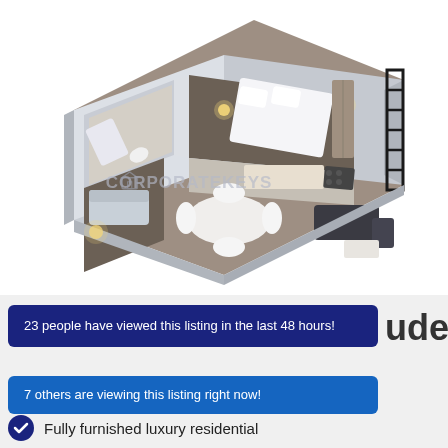[Figure (illustration): 3D isometric floor plan of a furnished apartment showing bathroom, bedroom, kitchen, living/dining area with table and chairs, sofa area, and balcony. Watermark reads 'CORPORATEKEYS' with a house/key logo.]
23 people have viewed this listing in the last 48 hours!
udes
7 others are viewing this listing right now!
Fully furnished luxury residential